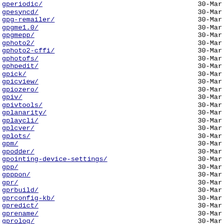gperiodic/   30-Mar
gpesyncd/   30-Mar
gpg-remailer/   30-Mar
gpgme1.0/   30-Mar
gpgmepp/   30-Mar
gphoto2/   30-Mar
gphoto2-cffi/   30-Mar
gphotofs/   30-Mar
gphpedit/   30-Mar
gpick/   30-Mar
gpicview/   30-Mar
gpiozero/   30-Mar
gpiv/   30-Mar
gpivtools/   30-Mar
gplanarity/   30-Mar
gplaycli/   30-Mar
gplcver/   30-Mar
gplots/   30-Mar
gpm/   30-Mar
gpodder/   30-Mar
gpointing-device-settings/   30-Mar
gpp/   30-Mar
gpppon/   30-Mar
gpr/   30-Mar
gprbuild/   30-Mar
gprconfig-kb/   30-Mar
gpredict/   30-Mar
gprename/   30-Mar
gprolog/   30-Mar
gpsbabel/   30-Mar
gpsconplate/   30-Mar